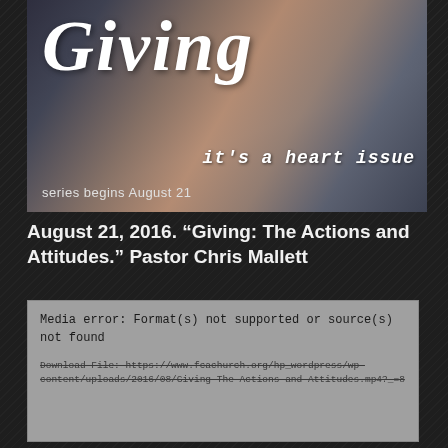[Figure (photo): Church sermon series banner image showing hands cupped together in background, with handwritten-style italic text 'Giving' and subtitle 'it's a heart issue', and text 'series begins August 21']
August 21, 2016. “Giving: The Actions and Attitudes.” Pastor Chris Mallett
Media error: Format(s) not supported or source(s) not found
Download File: https://www.fcachurch.org/hp_wordpress/wp-content/uploads/2016/08/Giving-The-Actions-and-Attitudes.mp4?_=8